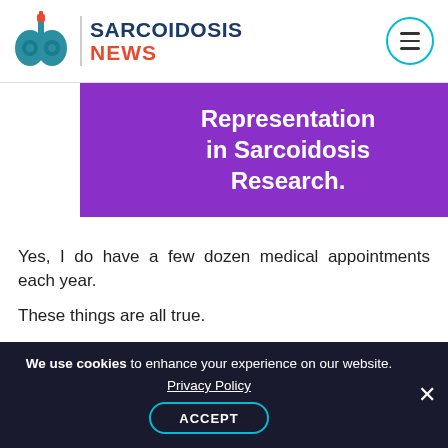SARCOIDOSIS NEWS
Representation in Sarcoidosis Research.
Yes, I do have a few dozen medical appointments each year.
These things are all true.
But compared with many others with sarcoidosis, I have great health insurance, various pharmacy
We use cookies to enhance your experience on our website. Privacy Policy ACCEPT